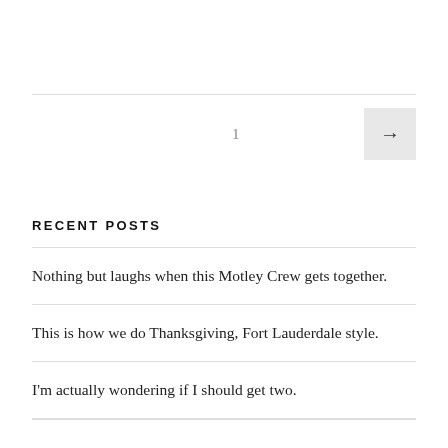1
RECENT POSTS
Nothing but laughs when this Motley Crew gets together.
This is how we do Thanksgiving, Fort Lauderdale style.
I'm actually wondering if I should get two.